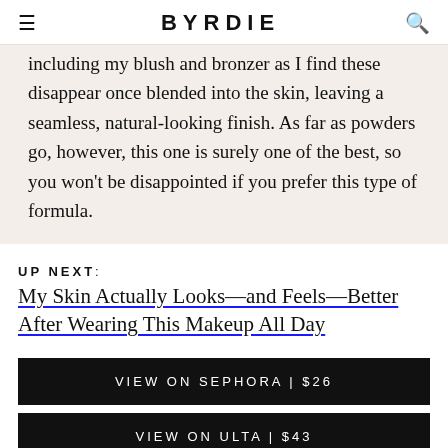BYRDIE
including my blush and bronzer as I find these disappear once blended into the skin, leaving a seamless, natural-looking finish. As far as powders go, however, this one is surely one of the best, so you won't be disappointed if you prefer this type of formula.
UP NEXT: My Skin Actually Looks—and Feels—Better After Wearing This Makeup All Day
VIEW ON SEPHORA | $26
VIEW ON ULTA | $43